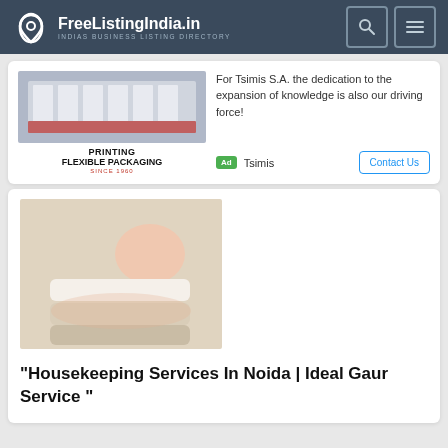FreeListingIndia.in — INDIAS BUSINESS LISTING DIRECTORY
[Figure (photo): Advertisement card showing printing machine image with text 'PRINTING FLEXIBLE PACKAGING SINCE 1960' alongside ad text for Tsimis S.A. and Contact Us button]
[Figure (photo): Photo of a person holding a stack of folded towels/textiles]
"Housekeeping Services In Noida | Ideal Gaur Service "